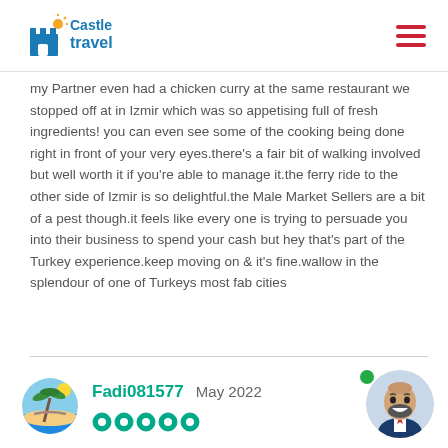Castle Travel
my Partner even had a chicken curry at the same restaurant we stopped off at in Izmir which was so appetising full of fresh ingredients! you can even see some of the cooking being done right in front of your very eyes.there's a fair bit of walking involved but well worth it if you're able to manage it.the ferry ride to the other side of Izmir is so delightful.the Male Market Sellers are a bit of a pest though.it feels like every one is trying to persuade you into their business to spend your cash but hey that's part of the Turkey experience.keep moving on & it's fine.wallow in the splendour of one of Turkeys most fab cities
Fadi081577  May 2022